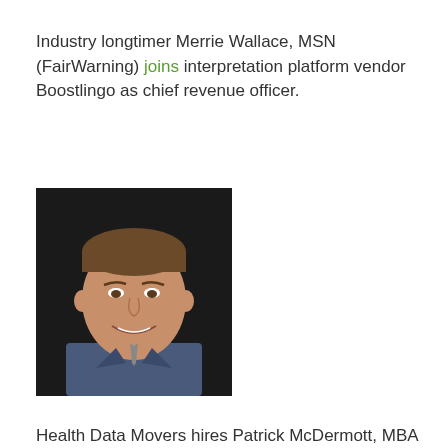Industry longtimer Merrie Wallace, MSN (FairWarning) joins interpretation platform vendor Boostlingo as chief revenue officer.
[Figure (photo): Headshot of a man in a suit, smiling, against a dark background]
Health Data Movers hires Patrick McDermott, MBA (Pivot Point Consulting, a Vaco Company) as business development executive.
Announcements and Implementations